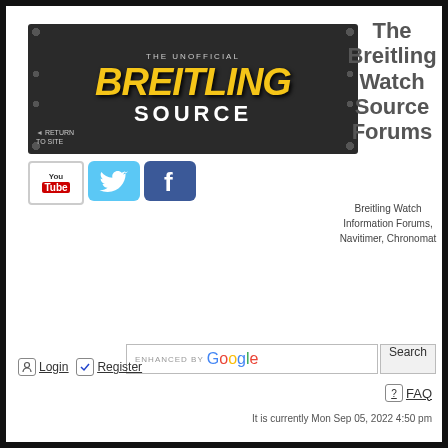[Figure (logo): The Unofficial Breitling Source banner with dark metallic background, rivets, yellow BREITLING text, white SOURCE text, and Return To Site link]
[Figure (logo): YouTube icon]
[Figure (logo): Twitter bird icon]
[Figure (logo): Facebook icon]
The Breitling Watch Source Forums
Breitling Watch Information Forums, Navitimer, Chronomat
enhanced by Google
Search
Login
Register
FAQ
It is currently Mon Sep 05, 2022 4:50 pm